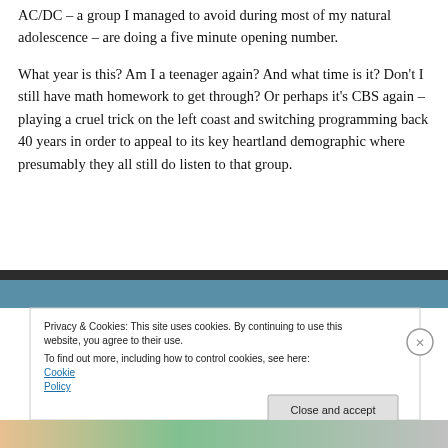AC/DC – a group I managed to avoid during most of my natural adolescence – are doing a five minute opening number.
What year is this? Am I a teenager again? And what time is it? Don't I still have math homework to get through? Or perhaps it's CBS again – playing a cruel trick on the left coast and switching programming back 40 years in order to appeal to its key heartland demographic where presumably they all still do listen to that group.
[Figure (screenshot): Screenshot of a webpage with a dark/teal image strip at top and cookie consent banner overlay.]